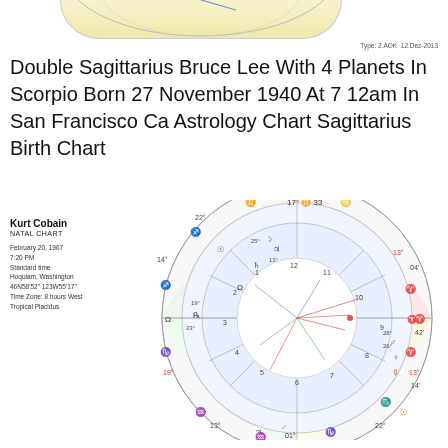[Figure (other): Top partial astrology chart image cropped at top of page]
Type: 2.AOK  12.Dez-2013
Double Sagittarius Bruce Lee With 4 Planets In Scorpio Born 27 November 1940 At 7 12am In San Francisco Ca Astrology Chart Sagittarius Birth Chart
Kurt Cobain
NATAL CHART

February 20, 1967
7:20 PM
Standard time
Hoquiam, Washington
46N58'52" 123W55'17"
Time Zone: 8 hours West
Tropical Placidus
[Figure (other): Natal astrology birth chart wheel diagram for Kurt Cobain with zodiac signs, house numbers, planetary symbols and aspect lines in multiple colors]